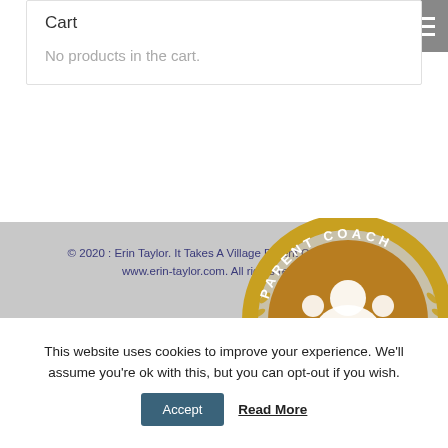Cart
No products in the cart.
© 2020 : Erin Taylor. It Takes A Village Parent Coaching, LLC. www.erin-taylor.com. All rights reserved.
[Figure (logo): Parent Coach certification badge — circular gold emblem with stylized family figures and laurel wreath, text reading PARENT COACH around the outside]
This website uses cookies to improve your experience. We'll assume you're ok with this, but you can opt-out if you wish.
Accept  Read More